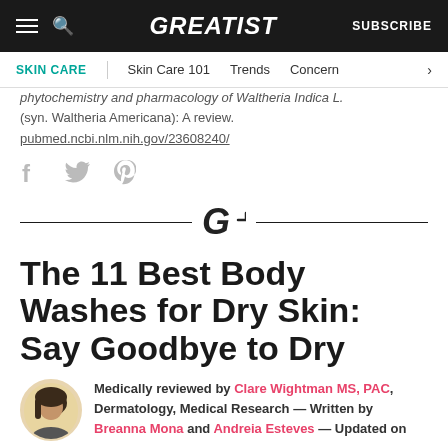GREATIST | SUBSCRIBE
SKIN CARE | Skin Care 101 | Trends | Concern
phytochemistry and pharmacology of Waltheria Indica L. (syn. Waltheria Americana): A review. pubmed.ncbi.nlm.nih.gov/23608240/
[Figure (other): Social sharing icons: Facebook, Twitter, Pinterest]
[Figure (logo): Greatist G logo divider between two horizontal lines]
The 11 Best Body Washes for Dry Skin: Say Goodbye to Dry
Medically reviewed by Clare Wightman MS, PAC, Dermatology, Medical Research — Written by Breanna Mona and Andreia Esteves — Updated on January 30, 2023